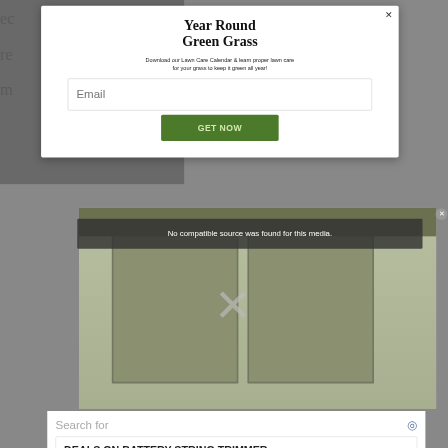ec
re
m
Year Round Green Grass
Download our Lawn Care Calendar & learn proper lawn care for your grass to keep it green all year!
Email
GET NOW
[Figure (screenshot): Video overlay showing 'No compatible source was found for this media.' message with a close X button]
Search for
DEALS ON BATTERY STRING TRIMMER →
TOP ELECTRIC STRING TRIMMERS →
Ad | Business Focus